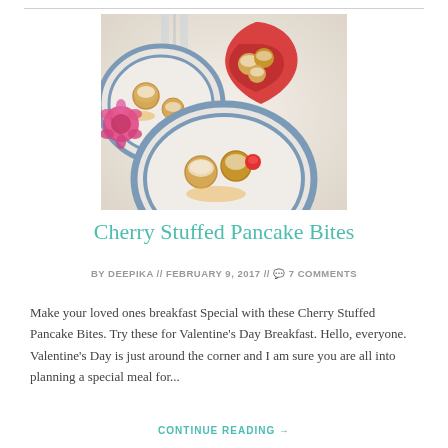[Figure (photo): Food photography showing cherry stuffed pancake bites on blue-rimmed plates with powdered sugar, cherries, syrup, and a red heart-shaped bowl filled with more pancake bites, pink flower decoration, on a light background.]
Cherry Stuffed Pancake Bites
BY DEEPIKA // FEBRUARY 9, 2017 // 💬 7 COMMENTS
Make your loved ones breakfast Special with these Cherry Stuffed Pancake Bites. Try these for Valentine's Day Breakfast. Hello, everyone. Valentine's Day is just around the corner and I am sure you are all into planning a special meal for...
CONTINUE READING →